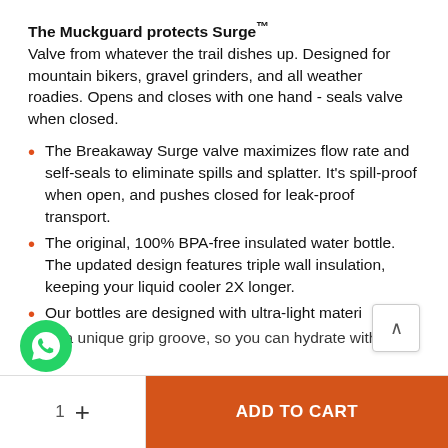The Muckguard protects Surge™ Valve from whatever the trail dishes up. Designed for mountain bikers, gravel grinders, and all weather roadies. Opens and closes with one hand - seals valve when closed.
The Breakaway Surge valve maximizes flow rate and self-seals to eliminate spills and splatter. It's spill-proof when open, and pushes closed for leak-proof transport.
The original, 100% BPA-free insulated water bottle. The updated design features triple wall insulation, keeping your liquid cooler 2X longer.
Our bottles are designed with ultra-light materi... a unique grip groove, so you can hydrate with...